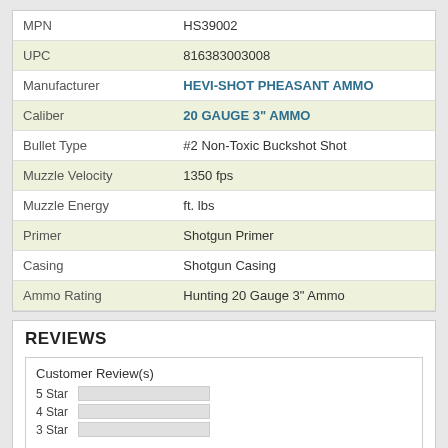| Attribute | Value |
| --- | --- |
| MPN | HS39002 |
| UPC | 816383003008 |
| Manufacturer | HEVI-SHOT PHEASANT AMMO |
| Caliber | 20 GAUGE 3" AMMO |
| Bullet Type | #2 Non-Toxic Buckshot Shot |
| Muzzle Velocity | 1350 fps |
| Muzzle Energy | ft. lbs |
| Primer | Shotgun Primer |
| Casing | Shotgun Casing |
| Ammo Rating | Hunting 20 Gauge 3" Ammo |
REVIEWS
Customer Review(s)
5 Star
4 Star
3 Star